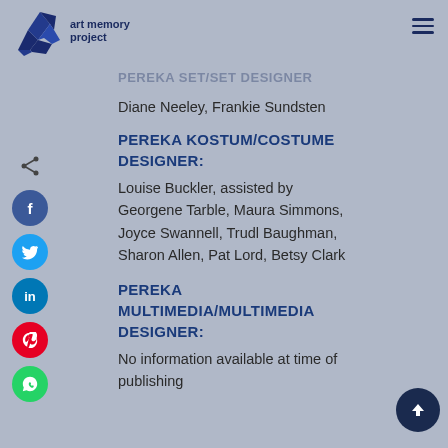art memory project
PEREKA SET/SET DESIGNER
Diane Neeley, Frankie Sundsten
PEREKA KOSTUM/COSTUME DESIGNER:
Louise Buckler, assisted by Georgene Tarble, Maura Simmons, Joyce Swannell, Trudl Baughman, Sharon Allen, Pat Lord, Betsy Clark
PEREKA MULTIMEDIA/MULTIMEDIA DESIGNER:
No information available at time of publishing